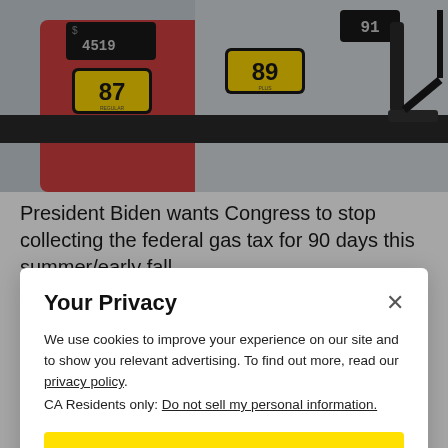[Figure (photo): Close-up photo of a gas station fuel dispenser showing octane grade buttons labeled 87, 89, 91, and a price display showing $4.519. A fuel nozzle handle is visible on the right side.]
President Biden wants Congress to stop collecting the federal gas tax for 90 days this summer/early fall
Your Privacy
We use cookies to improve your experience on our site and to show you relevant advertising. To find out more, read our privacy policy.
CA Residents only: Do not sell my personal information.